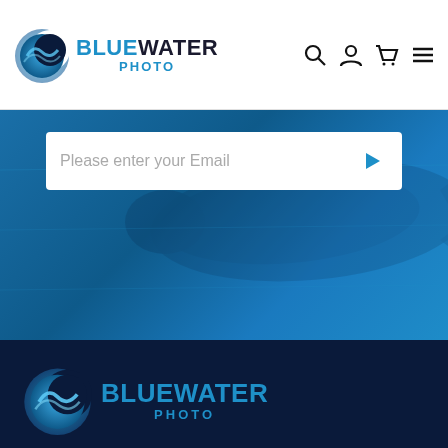[Figure (logo): Bluewater Photo logo with blue wave/crescent icon and text BLUEWATER PHOTO in dark and cyan]
[Figure (screenshot): Navigation icons: search magnifying glass, user account, shopping cart, hamburger menu]
Please enter your Email
[Figure (photo): Blue ocean background with shark silhouette visible through blue overlay]
[Figure (logo): Bluewater Photo logo large version in footer on dark navy background]
Bluewater Photo & Video
3961 Sepulveda Blvd, Suite 206
Culver City, CA 90230